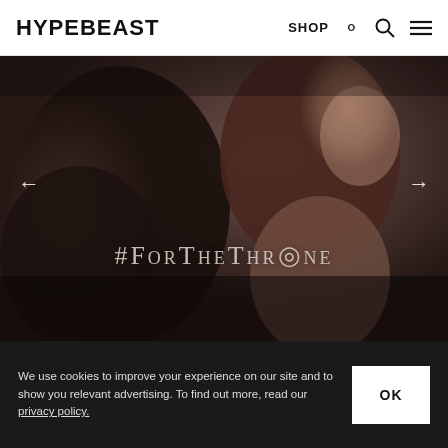HYPEBEAST   SHOP
[Figure (photo): Close-up side profile of a woman with dark tones, overlaid with stylized text '#ForTheThrone' in small-caps serif font. Navigation arrows on left and right.]
We use cookies to improve your experience on our site and to show you relevant advertising. To find out more, read our privacy policy.